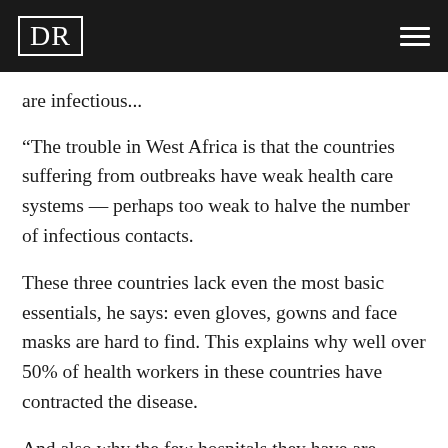DR
are infectious...
“The trouble in West Africa is that the countries suffering from outbreaks have weak health care systems — perhaps too weak to halve the number of infectious contacts.
These three countries lack even the most basic essentials, he says: even gloves, gowns and face masks are hard to find. This explains why well over 50% of health workers in these countries have contracted the disease.
And also why the few hospitals they have are overflowing.